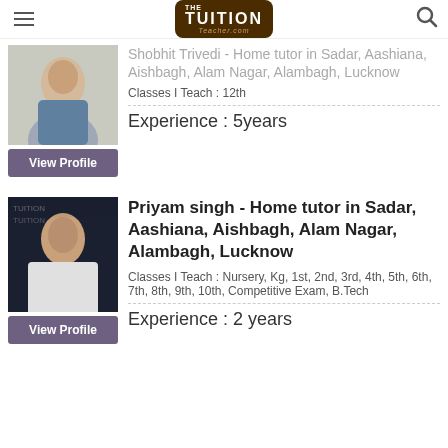THE TUITION Teacher.com
Shobhit Trivedi - Home tutor in Sadar, Aashiana, Aishbagh, Alam Nagar, Alambagh, Lucknow
Classes I Teach : 12th
Experience : 5years
Priyam singh - Home tutor in Sadar, Aashiana, Aishbagh, Alam Nagar, Alambagh, Lucknow
Classes I Teach : Nursery, Kg, 1st, 2nd, 3rd, 4th, 5th, 6th, 7th, 8th, 9th, 10th, Competitive Exam, B.Tech
Experience : 2 years